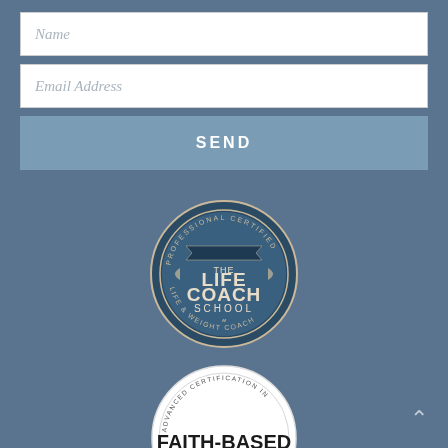Name
Email Address
SEND
[Figure (logo): The Life Coach School — Professional Certified Life & Weight Coach circular badge/seal in dark teal and cream colors]
[Figure (logo): Advanced Certification in Faith-Based Coaching with Jody Moore circular badge in white with black and gold text]